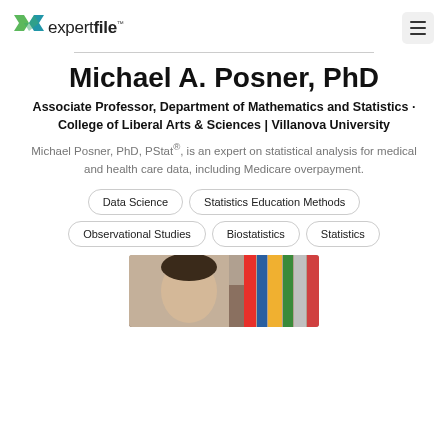expertfile™
Michael A. Posner, PhD
Associate Professor, Department of Mathematics and Statistics · College of Liberal Arts & Sciences | Villanova University
Michael Posner, PhD, PStat®, is an expert on statistical analysis for medical and health care data, including Medicare overpayment.
Data Science
Statistics Education Methods
Observational Studies
Biostatistics
Statistics
[Figure (photo): Partial photo of Michael A. Posner with bookshelves in background]